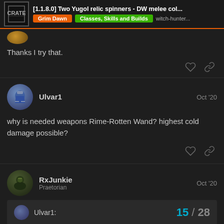[1.1.8.0] Two Yugol relic spinners - DW melee col... | Grim Dawn | Classes, Skills and Builds | witch-hunter...
Thanks I try that.
Ulvar1  Oct '20
why is needed weapons Rime-Rotten Wand? highest cold damage possible?
RxJunkie  Praetorian  Oct '20
Ulvar1:  15 / 28